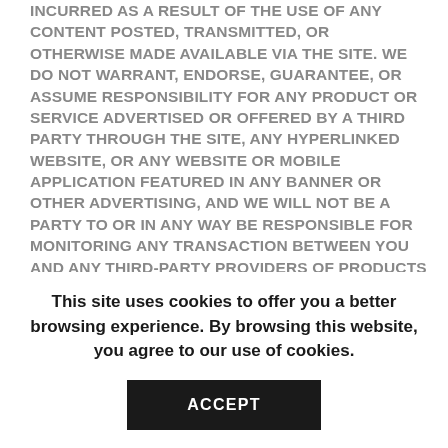INCURRED AS A RESULT OF THE USE OF ANY CONTENT POSTED, TRANSMITTED, OR OTHERWISE MADE AVAILABLE VIA THE SITE. WE DO NOT WARRANT, ENDORSE, GUARANTEE, OR ASSUME RESPONSIBILITY FOR ANY PRODUCT OR SERVICE ADVERTISED OR OFFERED BY A THIRD PARTY THROUGH THE SITE, ANY HYPERLINKED WEBSITE, OR ANY WEBSITE OR MOBILE APPLICATION FEATURED IN ANY BANNER OR OTHER ADVERTISING, AND WE WILL NOT BE A PARTY TO OR IN ANY WAY BE RESPONSIBLE FOR MONITORING ANY TRANSACTION BETWEEN YOU AND ANY THIRD-PARTY PROVIDERS OF PRODUCTS OR SERVICES. AS WITH THE PURCHASE OF A PRODUCT OR SERVICE THROUGH ANY
This site uses cookies to offer you a better browsing experience. By browsing this website, you agree to our use of cookies.
ACCEPT